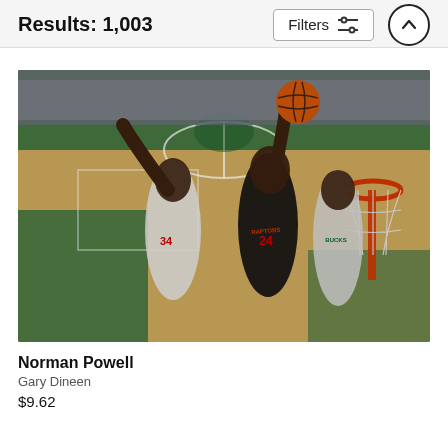Results: 1,003
[Figure (photo): NBA basketball game action photo: Norman Powell (#24) of the Toronto Raptors drives to the basket against Milwaukee Bucks defenders, with the basketball visible above and the hoop visible on the right side. The Bucks arena court is visible with green paint. Photo by Gary Dineen.]
Norman Powell
Gary Dineen
$9.62